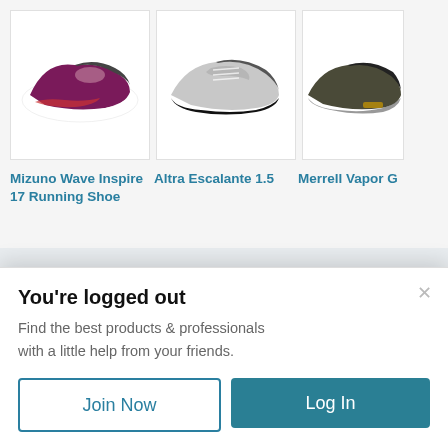[Figure (photo): Mizuno Wave Inspire 17 Running Shoe - purple/pink colorway on white background]
[Figure (photo): Altra Escalante 1.5 - grey running shoe on white background]
[Figure (photo): Merrell Vapor Glove - dark olive/grey shoe on white background, partially cropped]
Mizuno Wave Inspire 17 Running Shoe
Altra Escalante 1.5
Merrell Vapor Glov
Fresh Chalk
About
FAQ
Top Cities
Atlanta, GA
Austin, TX
You're logged out
Find the best products & professionals with a little help from your friends.
Join Now
Log In